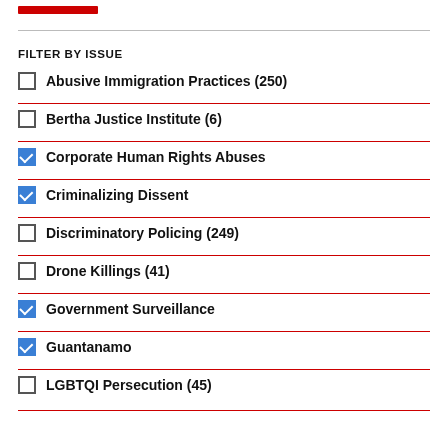FILTER BY ISSUE
Abusive Immigration Practices (250)
Bertha Justice Institute (6)
Corporate Human Rights Abuses
Criminalizing Dissent
Discriminatory Policing (249)
Drone Killings (41)
Government Surveillance
Guantanamo
LGBTQI Persecution (45)